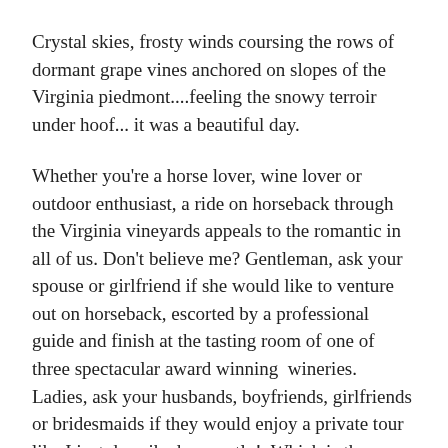Crystal skies, frosty winds coursing the rows of dormant grape vines anchored on slopes of the Virginia piedmont....feeling the snowy terroir under hoof... it was a beautiful day.
Whether you're a horse lover, wine lover or outdoor enthusiast, a ride on horseback through the Virginia vineyards appeals to the romantic in all of us. Don't believe me? Gentleman, ask your spouse or girlfriend if she would like to venture out on horseback, escorted by a professional guide and finish at the tasting room of one of three spectacular award winning wineries. Ladies, ask your husbands, boyfriends, girlfriends or bridesmaids if they would enjoy a private tour like I just described....exactly! Which is the same reason that I arranged for my sister ( fellow oenophile-fancy name for